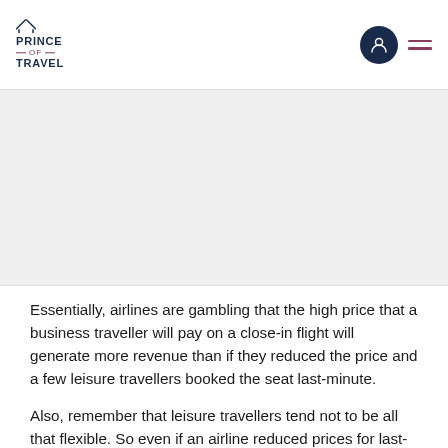PRINCE OF TRAVEL
[Figure (photo): Image placeholder area showing partial photo content]
Essentially, airlines are gambling that the high price that a business traveller will pay on a close-in flight will generate more revenue than if they reduced the price and a few leisure travellers booked the seat last-minute.
Also, remember that leisure travellers tend not to be all that flexible. So even if an airline reduced prices for last-minute tickets, how many seats would they